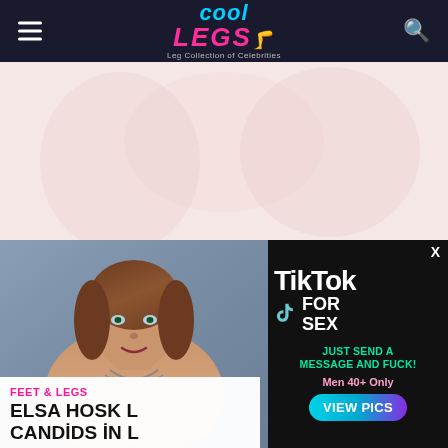Cool Legs — Leg Collection of Celebrities
[Figure (photo): Hero banner with faded pink/beige toned background image]
[Figure (photo): Main article photo of a woman]
[Figure (advertisement): TikTok For Sex advertisement overlay with 'JUST SEND A MESSAGE AND FUCK!', 'Men 40+ Only', 'VIEW PICS' button]
FEET & LEGS
ELSA HOSK L... CANDIDS IN L...